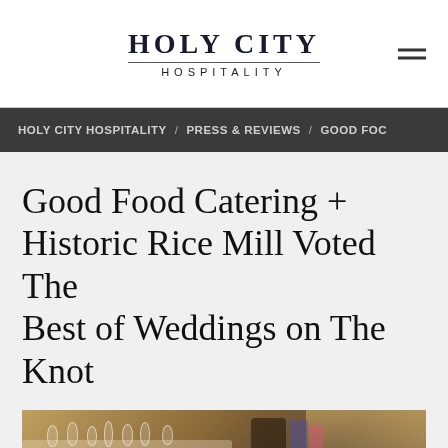HOLY CITY HOSPITALITY
HOLY CITY HOSPITALITY / PRESS & REVIEWS / GOOD FOC
Good Food Catering + Historic Rice Mill Voted The Best of Weddings on The Knot
[Figure (photo): Wedding reception table setting with glassware, white linens, and green hydrangea floral centerpiece arrangement in warm indoor lighting]